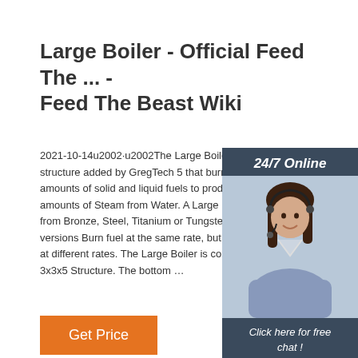Large Boiler - Official Feed The ... - Feed The Beast Wiki
2021-10-14u2002·u2002The Large Boiler is a structure added by GregTech 5 that burns enormous amounts of solid and liquid fuels to produce enormous amounts of Steam from Water. A Large Boiler can be made from Bronze, Steel, Titanium or Tungstensteel. All versions Burn fuel at the same rate, but produce Steam at different rates. The Large Boiler is constructed as a 3x3x5 Structure. The bottom …
[Figure (photo): Customer service representative with headset, 24/7 Online chat button, QUOTATION button on dark blue sidebar]
Get Price